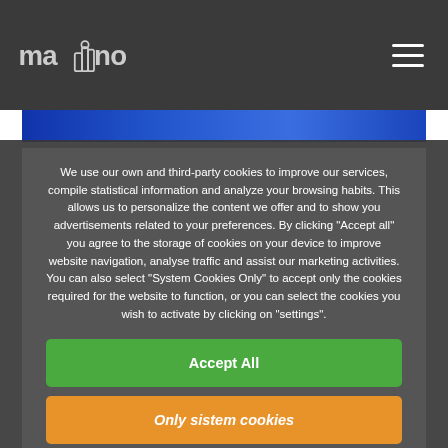ma[hand]no — navigation header with logo and hamburger menu
We use our own and third-party cookies to improve our services, compile statistical information and analyze your browsing habits. This allows us to personalize the content we offer and to show you advertisements related to your preferences. By clicking "Accept all" you agree to the storage of cookies on your device to improve website navigation, analyse traffic and assist our marketing activities. You can also select "System Cookies Only" to accept only the cookies required for the website to function, or you can select the cookies you wish to activate by clicking on "settings".
Accept All
Only sistem cookies
Configuration